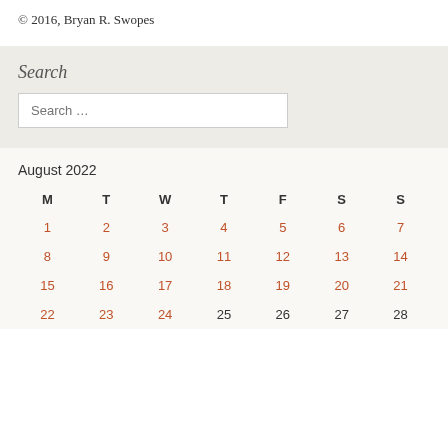© 2016, Bryan R. Swopes
Search
Search …
| M | T | W | T | F | S | S |
| --- | --- | --- | --- | --- | --- | --- |
| 1 | 2 | 3 | 4 | 5 | 6 | 7 |
| 8 | 9 | 10 | 11 | 12 | 13 | 14 |
| 15 | 16 | 17 | 18 | 19 | 20 | 21 |
| 22 | 23 | 24 | 25 | 26 | 27 | 28 |